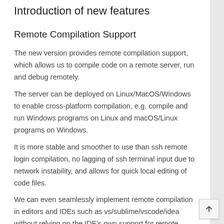Introduction of new features
Remote Compilation Support
The new version provides remote compilation support, which allows us to compile code on a remote server, run and debug remotely.
The server can be deployed on Linux/MacOS/Windows to enable cross-platform compilation, e.g. compile and run Windows programs on Linux and macOS/Linux programs on Windows.
It is more stable and smoother to use than ssh remote login compilation, no lagging of ssh terminal input due to network instability, and allows for quick local editing of code files.
We can even seamlessly implement remote compilation in editors and IDEs such as vs/sublime/vscode/idea without relying on the IDE's own support for remote compilation.